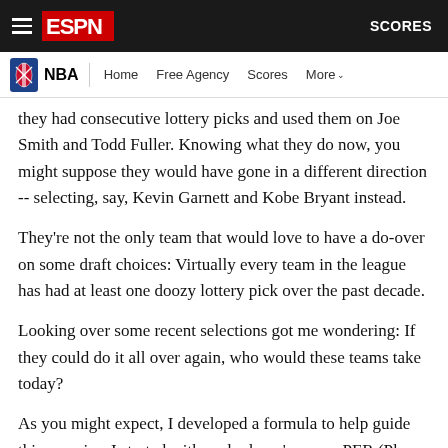ESPN NBA - Home Free Agency Scores More - SCORES
they had consecutive lottery picks and used them on Joe Smith and Todd Fuller. Knowing what they do now, you might suppose they would have gone in a different direction -- selecting, say, Kevin Garnett and Kobe Bryant instead.
They're not the only team that would love to have a do-over on some draft choices: Virtually every team in the league has had at least one doozy lottery pick over the past decade.
Looking over some recent selections got me wondering: If they could do it all over again, who would these teams take today?
As you might expect, I developed a formula to help guide this exercise. I started with each player's career PER (Player Efficiency Rating), and also factored in his career minutes